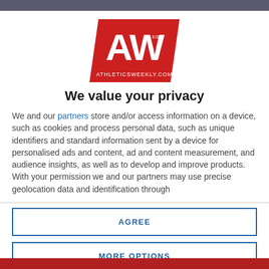[Figure (logo): AW Athletics Weekly logo — red trapezoid with white AW letters and ATHLETICSWEEKLY.COM text]
We value your privacy
We and our partners store and/or access information on a device, such as cookies and process personal data, such as unique identifiers and standard information sent by a device for personalised ads and content, ad and content measurement, and audience insights, as well as to develop and improve products. With your permission we and our partners may use precise geolocation data and identification through
AGREE
MORE OPTIONS